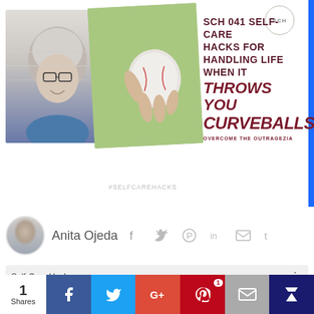[Figure (photo): Podcast episode cover art showing a woman with curly gray hair and glasses smiling, overlapping with an image of a hand holding a baseball, with text overlay reading 'SCH 041 SELF-CARE HACKS FOR HANDLING LIFE WHEN IT THROWS YOU CURVEBALLS' and hashtag #SELFCAREHACKS. SCH logo in top right.]
Anita Ojeda
[Figure (infographic): Audio player widget showing 'Self-Care Hacks' title, play button, time 0:00, progress bar, and end time 0:00]
1 Shares
Facebook share button
Twitter share button
Google+ share button
Pinterest share button with 1 share
Email share button
Crown/bookmark button